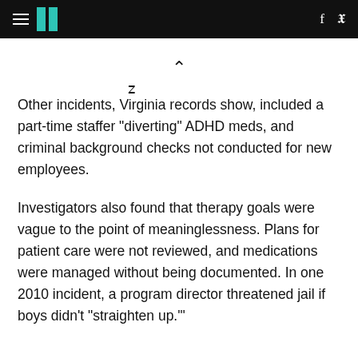HuffPost navigation header with logo, facebook and twitter icons
Other incidents, Virginia records show, included a part-time staffer "diverting" ADHD meds, and criminal background checks not conducted for new employees.
Investigators also found that therapy goals were vague to the point of meaninglessness. Plans for patient care were not reviewed, and medications were managed without being documented. In one 2010 incident, a program director threatened jail if boys didn't "straighten up."